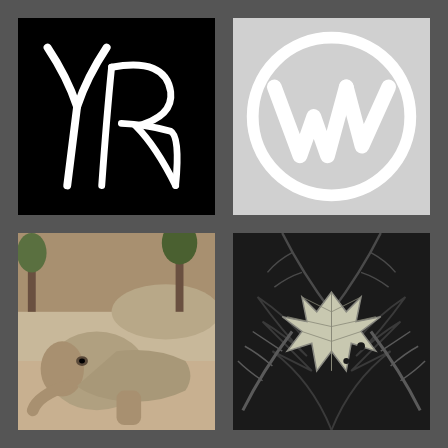[Figure (logo): Cursive YR monogram logo in white on black background]
[Figure (logo): WordPress W logo in white circle on light gray background]
[Figure (photo): Baby elephant lying down at zoo, sandy ground, trees in background]
[Figure (photo): Black and white photo of fern fronds with large maple leaf]